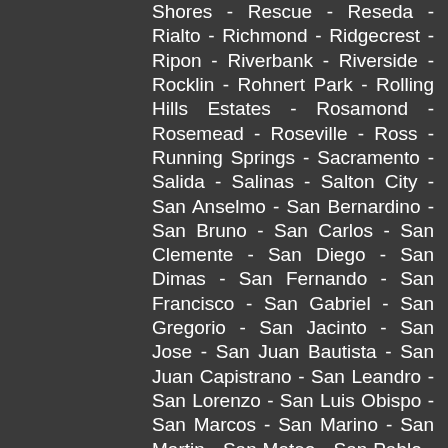Shores - Rescue - Reseda - Rialto - Richmond - Ridgecrest - Ripon - Riverbank - Riverside - Rocklin - Rohnert Park - Rolling Hills Estates - Rosamond - Rosemead - Roseville - Ross - Running Springs - Sacramento - Salida - Salinas - Salton City - San Anselmo - San Bernardino - San Bruno - San Carlos - San Clemente - San Diego - San Dimas - San Fernando - San Francisco - San Gabriel - San Gregorio - San Jacinto - San Jose - San Juan Bautista - San Juan Capistrano - San Leandro - San Lorenzo - San Luis Obispo - San Marcos - San Marino - San Martin - San Mateo - San Pablo - San Pedro - San Rafael - San Ramon - San Ysidro - Sanger - Santa Ana - Santa Barbara - Santa Clara - Santa Clarita - Santa Cruz - Santa Fe Springs - Santa Margarita - Santa Maria - Santa Monica - Santa Paula - Santa Rosa - Santa Ynez - Santee - Saratoga - Saugus - Sausalito - Scotia - Scotts Valley - Sea Beach - Seal Ranch - Seaside -